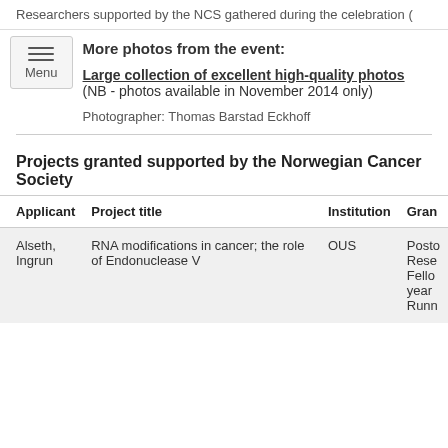Researchers supported by the NCS gathered during the celebration (
More photos from the event:
Large collection of excellent high-quality photos (NB - photos available in November 2014 only)
Photographer: Thomas Barstad Eckhoff
Projects granted supported by the Norwegian Cancer Society
| Applicant | Project title | Institution | Gran |
| --- | --- | --- | --- |
| Alseth, Ingrun | RNA modifications in cancer; the role of Endonuclease V | OUS | Posto Rese Fello year Runn |